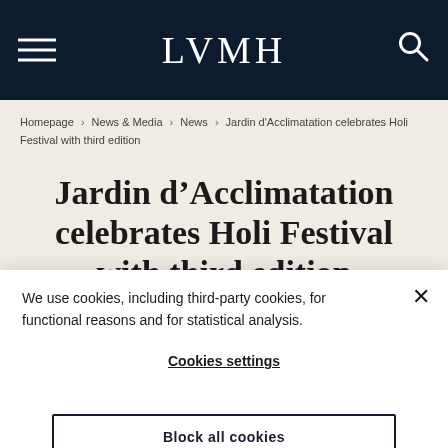LVMH
Homepage > News & Media > News > Jardin d'Acclimatation celebrates Holi Festival with third edition
Jardin d'Acclimatation celebrates Holi Festival with third edition
We use cookies, including third-party cookies, for functional reasons and for statistical analysis.
Cookies settings
Block all cookies